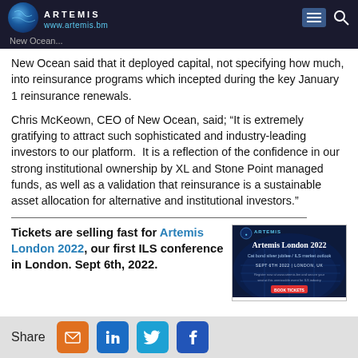ARTEMIS www.artemis.bm
New Ocean...
New Ocean said that it deployed capital, not specifying how much, into reinsurance programs which incepted during the key January 1 reinsurance renewals.
Chris McKeown, CEO of New Ocean, said; "It is extremely gratifying to attract such sophisticated and industry-leading investors to our platform.  It is a reflection of the confidence in our strong institutional ownership by XL and Stone Point managed funds, as well as a validation that reinsurance is a sustainable asset allocation for alternative and institutional investors."
Tickets are selling fast for Artemis London 2022, our first ILS conference in London. Sept 6th, 2022.
[Figure (screenshot): Artemis London 2022 conference advertisement banner showing globe imagery, title 'Artemis London 2022', subtitle 'Cat bond silver jubilee / ILS market outlook', date 'SEPT 6TH 2022 | LONDON, UK']
Share